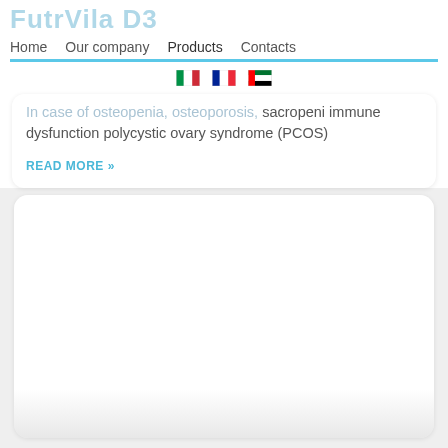FutrVila D3
Home  Our company  Products  Contacts
[Figure (illustration): Three country flags: Italy, France, UAE]
In case of osteopenia, osteoporosis, sacropeni immune dysfunction polycystic ovary syndrome (PCOS)
READ MORE »